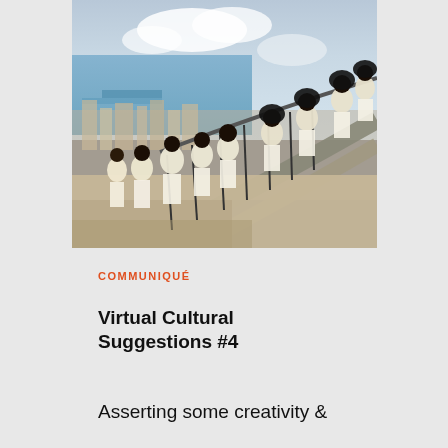[Figure (photo): People dressed in white clothing standing and sitting on an outdoor staircase railing overlooking a coastal city with buildings, a harbor, and a blue sky with clouds.]
COMMUNIQUÉ
Virtual Cultural Suggestions #4
Asserting some creativity &